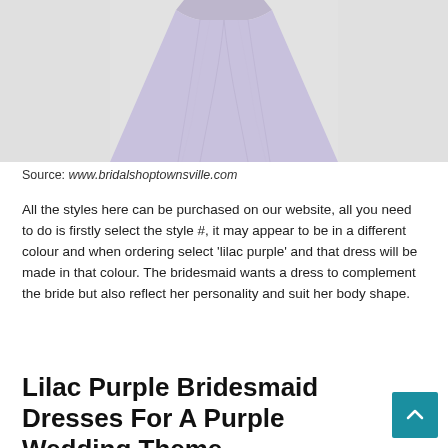[Figure (photo): Close-up of a lilac purple chiffon bridesmaid dress, showing the draped skirt in a soft lavender/lilac colour against a light grey background.]
Source: www.bridalshoptownsville.com
All the styles here can be purchased on our website, all you need to do is firstly select the style #, it may appear to be in a different colour and when ordering select ‘lilac purple’ and that dress will be made in that colour. The bridesmaid wants a dress to complement the bride but also reflect her personality and suit her body shape.
Lilac Purple Bridesmaid Dresses For A Purple Wedding Theme.